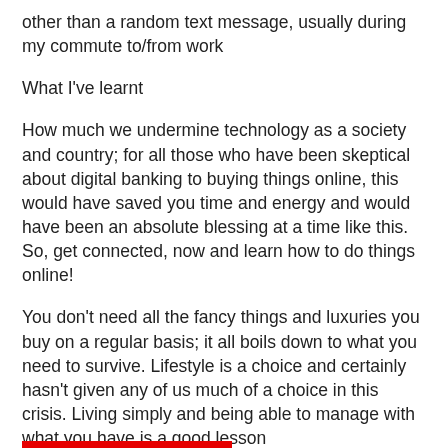other than a random text message, usually during my commute to/from work
What I've learnt
How much we undermine technology as a society and country; for all those who have been skeptical about digital banking to buying things online, this would have saved you time and energy and would have been an absolute blessing at a time like this. So, get connected, now and learn how to do things online!
You don't need all the fancy things and luxuries you buy on a regular basis; it all boils down to what you need to survive. Lifestyle is a choice and certainly hasn't given any of us much of a choice in this crisis. Living simply and being able to manage with what you have is a good lesson